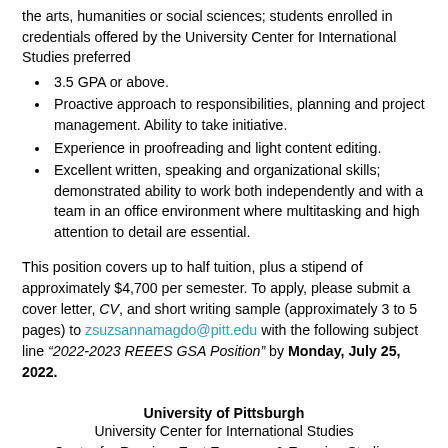the arts, humanities or social sciences; students enrolled in credentials offered by the University Center for International Studies preferred
3.5 GPA or above.
Proactive approach to responsibilities, planning and project management. Ability to take initiative.
Experience in proofreading and light content editing.
Excellent written, speaking and organizational skills; demonstrated ability to work both independently and with a team in an office environment where multitasking and high attention to detail are essential.
This position covers up to half tuition, plus a stipend of approximately $4,700 per semester. To apply, please submit a cover letter, CV, and short writing sample (approximately 3 to 5 pages) to zsuzsannamagdo@pitt.edu with the following subject line “2022-2023 REEES GSA Position” by Monday, July 25, 2022.
University of Pittsburgh
University Center for International Studies
Center for Russian, East European & Eurasian Studies
230 S. Bouquet Street
4200 Wesley W. Posvar Hall